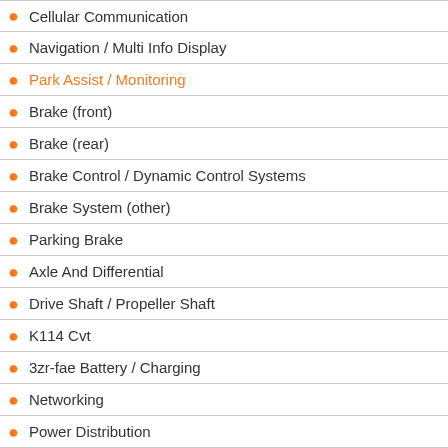Cellular Communication
Navigation / Multi Info Display
Park Assist / Monitoring
Brake (front)
Brake (rear)
Brake Control / Dynamic Control Systems
Brake System (other)
Parking Brake
Axle And Differential
Drive Shaft / Propeller Shaft
K114 Cvt
3zr-fae Battery / Charging
Networking
Power Distribution
Power Assist Systems
Steering Column